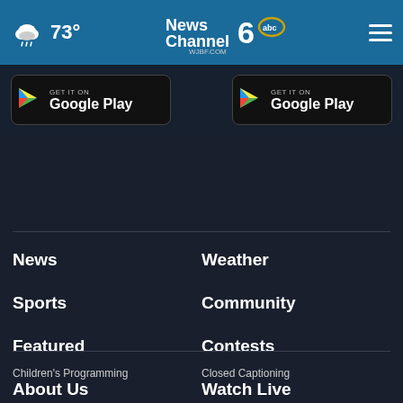73° | News Channel 6 WJBF.COM abc
[Figure (logo): Google Play badge (left)]
[Figure (logo): Google Play badge (right)]
News
Weather
Sports
Community
Featured
Contests
About Us
Watch Live
Children's Programming
Closed Captioning